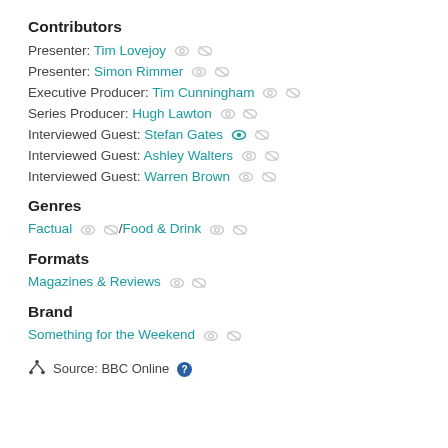Contributors
Presenter: Tim Lovejoy
Presenter: Simon Rimmer
Executive Producer: Tim Cunningham
Series Producer: Hugh Lawton
Interviewed Guest: Stefan Gates
Interviewed Guest: Ashley Walters
Interviewed Guest: Warren Brown
Genres
Factual / Food & Drink
Formats
Magazines & Reviews
Brand
Something for the Weekend
Source: BBC Online